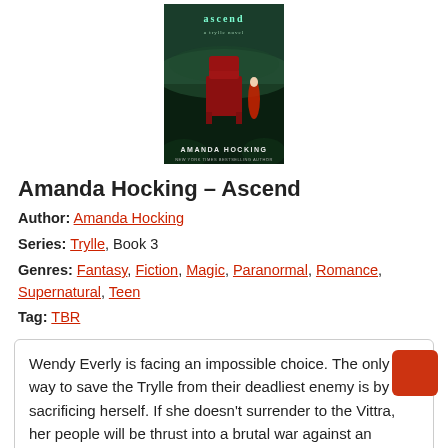[Figure (illustration): Book cover for 'Ascend' by Amanda Hocking - a Trylle novel. Dark green atmospheric background with a red throne/chair and a figure in a red dress.]
Amanda Hocking – Ascend
Author: Amanda Hocking
Series: Trylle, Book 3
Genres: Fantasy, Fiction, Magic, Paranormal, Romance, Supernatural, Teen
Tag: TBR
Wendy Everly is facing an impossible choice. The only way to save the Trylle from their deadliest enemy is by sacrificing herself. If she doesn't surrender to the Vittra, her people will be thrust into a brutal war against an unbeatable foe. But how can Wendy leave all her friends behind… even if it's the only way to save them?